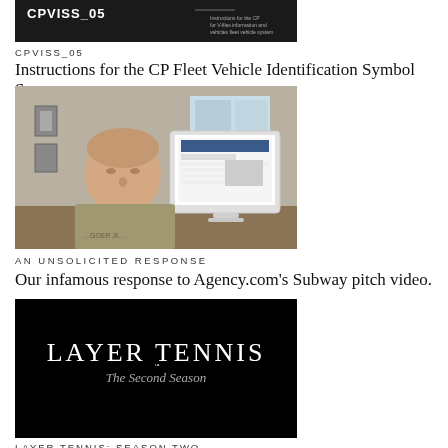[Figure (screenshot): Dark thumbnail image showing CPVISS_05 document preview]
CPVISS_05
Instructions for the CP Fleet Vehicle Identification Symbol Sys…
[Figure (photo): Photo of a middle-aged man sitting in front of an iMac computer in a home/office setting]
AN UNSOLICITED RESPONSE
Our infamous response to Agency.com's Subway pitch video.
[Figure (screenshot): Black title card reading LAYER TENNIS The Second Season]
LAYER TENNIS: SEASON TWO